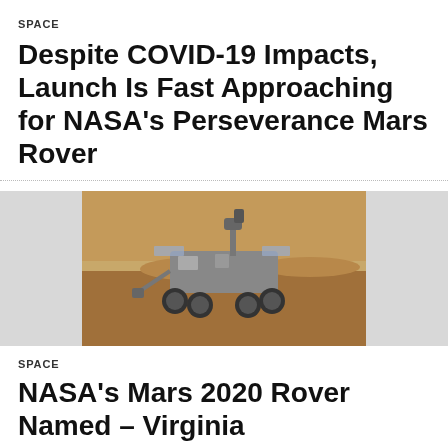SPACE
Despite COVID-19 Impacts, Launch Is Fast Approaching for NASA's Perseverance Mars Rover
[Figure (photo): NASA Perseverance Mars Rover on the Martian surface, a robot with wheels and camera masts against a reddish-orange rocky landscape.]
SPACE
NASA's Mars 2020 Rover Named – Virginia
Search for
1. CRAWL SPACE DEHUMIDIFIER
2. INVESTIR EN ACTIONS
Ad | Cellphone Guru